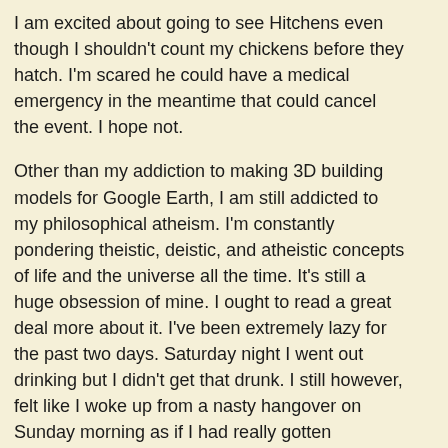I am excited about going to see Hitchens even though I shouldn't count my chickens before they hatch. I'm scared he could have a medical emergency in the meantime that could cancel the event. I hope not.
Other than my addiction to making 3D building models for Google Earth, I am still addicted to my philosophical atheism. I'm constantly pondering theistic, deistic, and atheistic concepts of life and the universe all the time. It's still a huge obsession of mine. I ought to read a great deal more about it. I've been extremely lazy for the past two days. Saturday night I went out drinking but I didn't get that drunk. I still however, felt like I woke up from a nasty hangover on Sunday morning as if I had really gotten hammered the night before.
Today I'm equally lazy. I could roll over and take a nap right now if I want. Sometimes what really helps me get out of this sloth-like mood is stepping out on my porch and breathing is some cool fresh air. I really should work out too. I can feel my muscles shrinking. I never get where I want physically. All I ever wanted was to build was 15 pounds of muscle, just